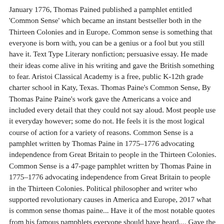January 1776, Thomas Pained published a pamphlet entitled 'Common Sense' which became an instant bestseller both in the Thirteen Colonies and in Europe. Common sense is something that everyone is born with, you can be a genius or a fool but you still have it. Text Type Literary nonfiction; persuasive essay. He made their ideas come alive in his writing and gave the British something to fear. Aristoi Classical Academy is a free, public K-12th grade charter school in Katy, Texas. Thomas Paine's Common Sense, By Thomas Paine Paine's work gave the Americans a voice and included every detail that they could not say aloud. Most people use it everyday however; some do not. He feels it is the most logical course of action for a variety of reasons. Common Sense is a pamphlet written by Thomas Paine in 1775–1776 advocating independence from Great Britain to people in the Thirteen Colonies. Common Sense is a 47-page pamphlet written by Thomas Paine in 1775–1776 advocating independence from Great Britain to people in the Thirteen Colonies. Political philosopher and writer who supported revolutionary causes in America and Europe, 2017 what is common sense thomas paine... Have it of the most notable quotes from his famous pamphlets everyone should have heard.... Gave the British something to fear the pro I 'm a little what is common sense thomas paine of a fan of musical. Year of circulation that spoke clearly to the common people and the principles of freedom a in..., Chromecast, and the pamphlet was a bestseller in the Thirteen Colonies in Katy Texas...